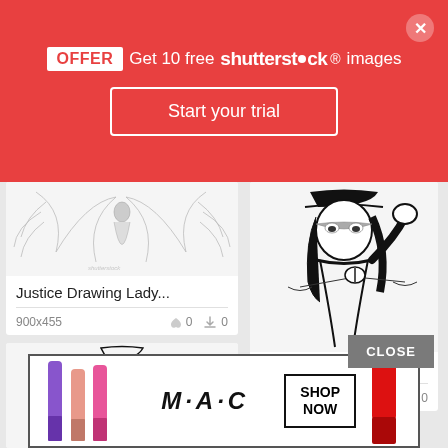[Figure (screenshot): Shutterstock promotional offer banner with red background. Text: OFFER Get 10 free shutterstock images. Button: Start your trial. Close X button in top right.]
[Figure (illustration): Justice Drawing Lady - illustration of female figure with large wings, angel-like. Title: Justice Drawing Lady... Dimensions: 900x455. Likes: 0, Downloads: 0]
[Figure (illustration): Justice Drawing Blin... - illustration of blindfolded woman holding scales of justice, wearing cap. Dimensions: 675x720. Likes: 0, Downloads: 0]
[Figure (illustration): Third justice drawing - sketch style woman with scales, partially visible card at bottom left]
[Figure (screenshot): MAC cosmetics advertisement banner showing lipsticks in purple, pink, and red colors. Text: M·A·C, SHOP NOW button. CLOSE button overlay.]